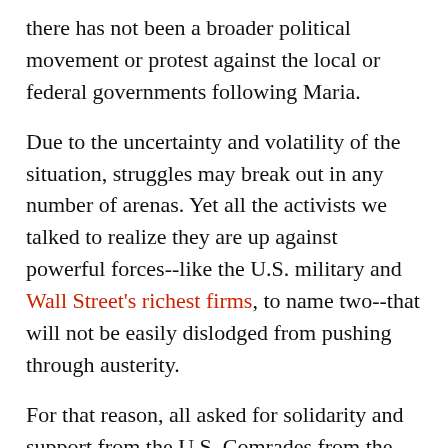there has not been a broader political movement or protest against the local or federal governments following Maria.
Due to the uncertainty and volatility of the situation, struggles may break out in any number of arenas. Yet all the activists we talked to realize they are up against powerful forces--like the U.S. military and Wall Street's richest firms, to name two--that will not be easily dislodged from pushing through austerity.
For that reason, all asked for solidarity and support from the U.S. Comrades from the Partido del Pueblo Trabajador (PPT, or the Working People's Party) stressed that political solidarity in the U.S. will be crucial over the next few months.
Specifically, they asked that U.S. organizations standing in solidarity with Puerto Rico organize around the follow demands: Billions from Congress to help in the reconstruction of the island;